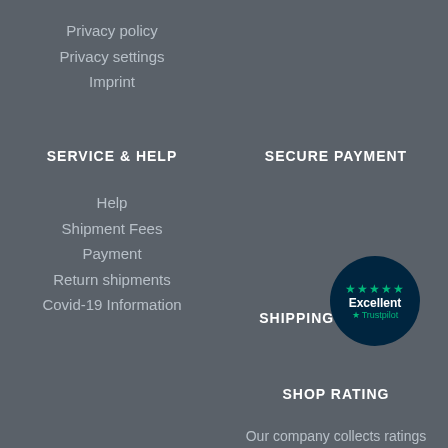Privacy policy
Privacy settings
Imprint
SERVICE & HELP
SECURE PAYMENT
Help
Shipment Fees
Payment
Return shipments
Covid-19 Information
SHIPPING PARTNER
SHOP RATING
[Figure (logo): Trustpilot badge — dark navy circle with 5 green stars, text 'Excellent' in white, Trustpilot logo below]
Our company collects ratings